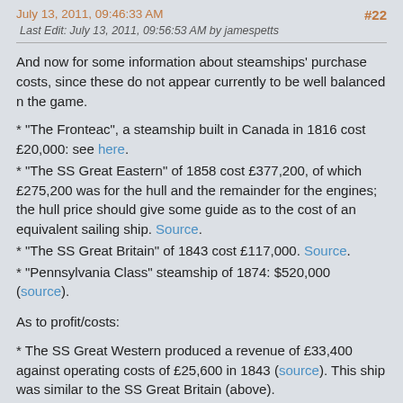July 13, 2011, 09:46:33 AM   #22
Last Edit: July 13, 2011, 09:56:53 AM by jamespetts
And now for some information about steamships' purchase costs, since these do not appear currently to be well balanced n the game.
* "The Fronteac", a steamship built in Canada in 1816 cost £20,000: see here.
* "The SS Great Eastern" of 1858 cost £377,200, of which £275,200 was for the hull and the remainder for the engines; the hull price should give some guide as to the cost of an equivalent sailing ship. Source.
* "The SS Great Britain" of 1843 cost £117,000. Source.
* "Pennsylvania Class" steamship of 1874: $520,000 (source).
As to profit/costs:
* The SS Great Western produced a revenue of £33,400 against operating costs of £25,600 in 1843 (source). This ship was similar to the SS Great Britain (above).
Download Simutrans-Extended.